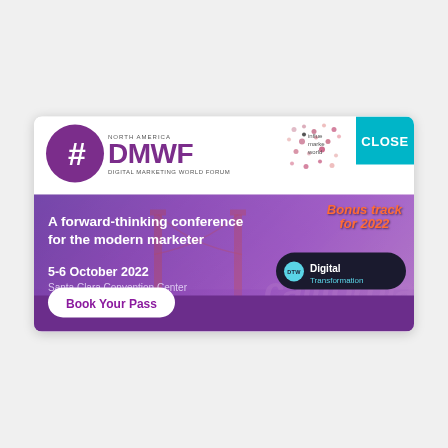[Figure (infographic): DMWF (Digital Marketing World Forum) North America conference advertisement banner. Features #DMWF logo with purple circle, conference details for 5-6 October 2022 at Santa Clara Convention Center, 'A forward-thinking conference for the modern marketer' tagline, Book Your Pass CTA button, Bonus track for 2022 Digital Transformation badge, California background imagery with Golden Gate Bridge, and a CLOSE button in teal.]